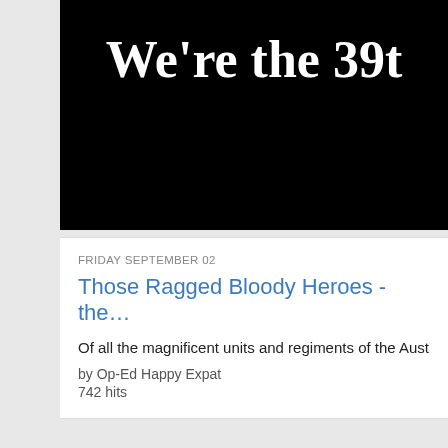[Figure (screenshot): Black banner image with white serif text reading "We're the 39t" (truncated)]
FRIDAY SEPTEMBER 02
Those Ragged Bloody Heroes - the…
Of all the magnificent units and regiments of the Australian Army h…
by Op-Ed Happy Expat
742 hits
[Figure (photo): Black banner with white text "Not the actual kille" and gray text "This Roo votes Trump", below is a photo of a kangaroo, with a "Scroll to top" button overlay]